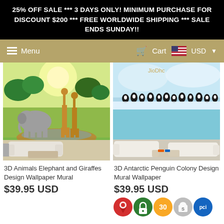25% OFF SALE *** 3 DAYS ONLY! MINIMUM PURCHASE FOR DISCOUNT $200 *** FREE WORLDWIDE SHIPPING *** SALE ENDS SUNDAY!!
Menu   Cart   USD
[Figure (photo): Wallpaper mural product image showing elephants and giraffes in savanna setting displayed in a living room]
3D Animals Elephant and Giraffes Design Wallpaper Mural
$39.95 USD
[Figure (photo): Wallpaper mural product image showing Antarctic penguin colony displayed in a living room]
3D Antarctic Penguin Colony Design Mural Wallpaper
$39.95 USD
[Figure (infographic): Trust badge icons: Google Maps pin (red), secure lock (green), 30-day (yellow/gold), Shopify bag (grey), PCI compliance (blue)]